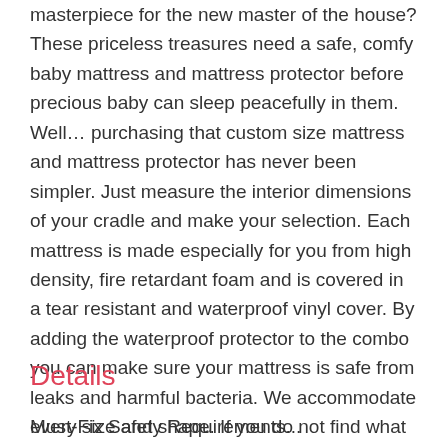masterpiece for the new master of the house? These priceless treasures need a safe, comfy baby mattress and mattress protector before precious baby can sleep peacefully in them. Well… purchasing that custom size mattress and mattress protector has never been simpler. Just measure the interior dimensions of your cradle and make your selection. Each mattress is made especially for you from high density, fire retardant foam and is covered in a tear resistant and waterproof vinyl cover. By adding the waterproof protector to the combo you can make sure your mattress is safe from leaks and harmful bacteria. We accommodate every size and shape. If you do not find what you are looking for please contact us at sales@ababy.com and we will be happy to assist you.
Details
Must-Fix Safety Requirements...